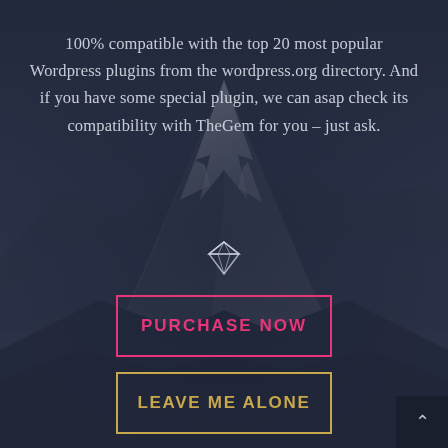[Figure (photo): Background photo of a snow-capped mountain peak (resembling the Matterhorn) with a dark blue-grey overlay, giving a dramatic, moody appearance.]
100% compatible with the top 20 most popular Wordpress plugins from the wordpress.org directory. And if you have some special plugin, we can asap check its compatibility with TheGem for you – just ask.
[Figure (illustration): Small diamond/gem icon in white/light grey outline style, centered below the main text paragraph.]
PURCHASE NOW
LEAVE ME ALONE